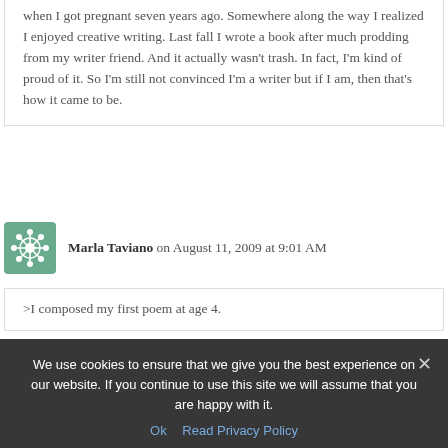when I got pregnant seven years ago. Somewhere along the way I realized I enjoyed creative writing. Last fall I wrote a book after much prodding from my writer friend. And it actually wasn't trash. In fact, I'm kind of proud of it. So I'm still not convinced I'm a writer but if I am, then that's how it came to be.
Marla Taviano on August 11, 2009 at 9:01 AM
>I composed my first poem at age 4.
We use cookies to ensure that we give you the best experience on our website. If you continue to use this site we will assume that you are happy with it.